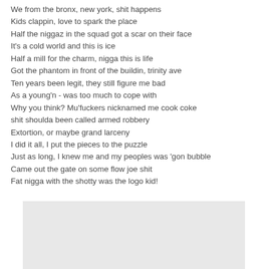We from the bronx, new york, shit happens
Kids clappin, love to spark the place
Half the niggaz in the squad got a scar on their face
It's a cold world and this is ice
Half a mill for the charm, nigga this is life
Got the phantom in front of the buildin, trinity ave
Ten years been legit, they still figure me bad
As a young'n - was too much to cope with
Why you think? Mu'fuckers nicknamed me cook coke
shit shoulda been called armed robbery
Extortion, or maybe grand larceny
I did it all, I put the pieces to the puzzle
Just as long, I knew me and my peoples was 'gon bubble
Came out the gate on some flow joe shit
Fat nigga with the shotty was the logo kid!
[Figure (other): A light gray rectangular placeholder box at the bottom of the page.]